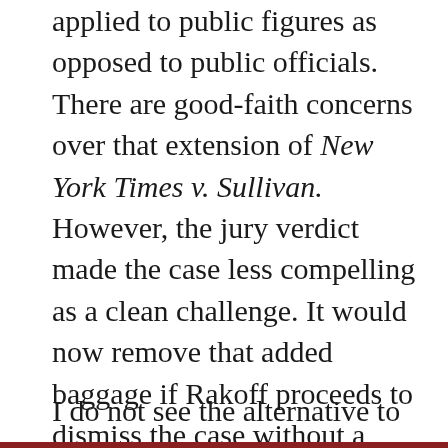applied to public figures as opposed to public officials. There are good-faith concerns over that extension of New York Times v. Sullivan. However, the jury verdict made the case less compelling as a clean challenge. It would now remove that added baggage if Rakoff proceeds to dismiss the case without a verdict.
I do not see the alternative to setting the verdict aside but, in the very least, it has added a significant